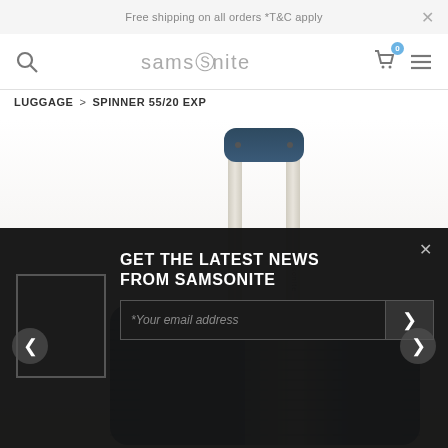Free shipping on all orders *T&C apply
[Figure (logo): Samsonite logo in gray with stylized S]
LUGGAGE > SPINNER 55/20 EXP
[Figure (photo): Close-up photo of a navy blue Samsonite hardside spinner suitcase with extended telescoping handle, showing ribbed texture and silver hardware]
GET THE LATEST NEWS FROM SAMSONITE
*Your email address